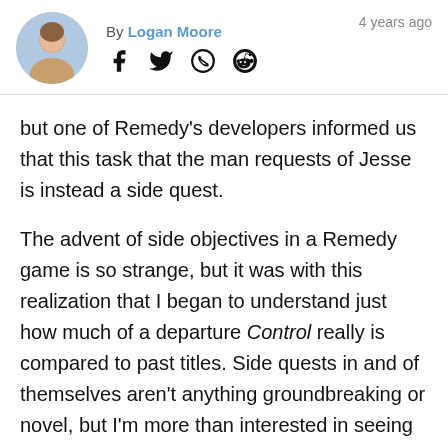By Logan Moore · 4 years ago
but one of Remedy's developers informed us that this task that the man requests of Jesse is instead a side quest.
The advent of side objectives in a Remedy game is so strange, but it was with this realization that I began to understand just how much of a departure Control really is compared to past titles. Side quests in and of themselves aren't anything groundbreaking or novel, but I'm more than interested in seeing how Remedy utilizes them within Control since they haven't done anything in this manner before.